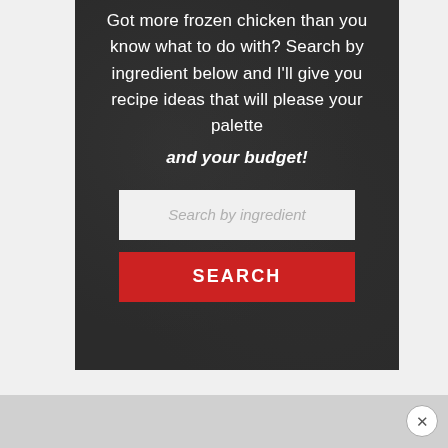Got more frozen chicken than you know what to do with? Search by ingredient below and I'll give you recipe ideas that will please your palette and your budget!
[Figure (screenshot): Search input field with placeholder text 'Search by ingredient' on a light grey background]
[Figure (screenshot): Red SEARCH button with white uppercase text]